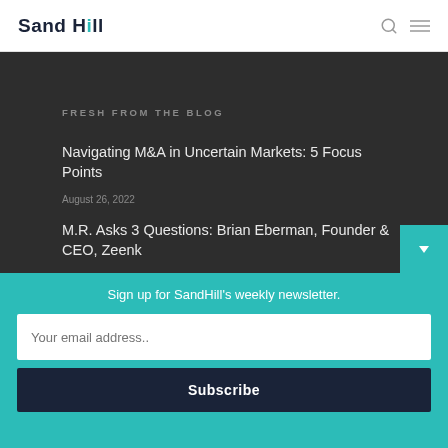Sand Hill
FRESH FROM THE BLOG
Navigating M&A in Uncertain Markets: 5 Focus Points
August 26, 2022
M.R. Asks 3 Questions: Brian Eberman, Founder & CEO, Zeenk
August 16, 2022
Sign up for SandHill's weekly newsletter.
Your email address..
Subscribe